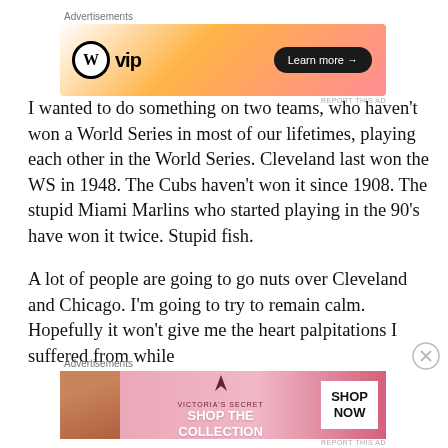[Figure (other): WordPress VIP advertisement banner with gradient orange/pink background, WP logo on left, 'vip' text, and 'Learn more →' button on dark pill]
I wanted to do something on two teams, who haven't won a World Series in most of our lifetimes, playing each other in the World Series. Cleveland last won the WS in 1948. The Cubs haven't won it since 1908. The stupid Miami Marlins who started playing in the 90's have won it twice. Stupid fish.
A lot of people are going to go nuts over Cleveland and Chicago. I'm going to try to remain calm. Hopefully it won't give me the heart palpitations I suffered from while
[Figure (other): Victoria's Secret advertisement banner with pink background, model photo on left, VS logo, 'SHOP THE COLLECTION' text, and 'SHOP NOW' white button]